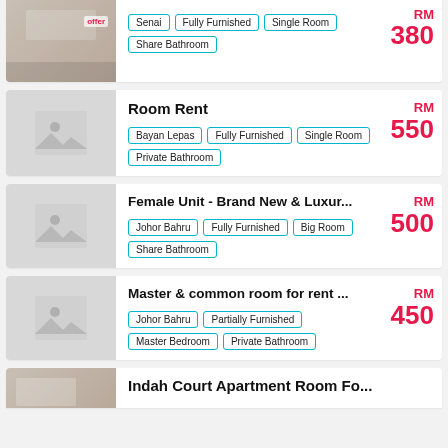[Figure (photo): Partial listing card at top showing a room photo (cropped), with tags: Senai, Fully Furnished, Single Room, Share Bathroom and price RM 380]
Room Rent | Bayan Lepas | Fully Furnished | Single Room | Private Bathroom | RM 550
Female Unit - Brand New & Luxur... | Johor Bahru | Fully Furnished | Big Room | Share Bathroom | RM 500
Master & common room for rent ... | Johor Bahru | Partially Furnished | Master Bedroom | Private Bathroom | RM 450
Indah Court Apartment Room Fo... (partial)